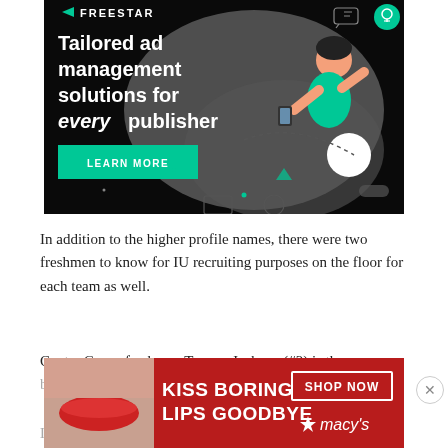[Figure (illustration): Freestar advertisement banner with dark background, headline 'Tailored ad management solutions for every publisher', illustrated character using phone, green Learn More button, and decorative elements]
In addition to the higher profile names, there were two freshmen to know for IU recruiting purposes on the floor for each team as well.
Center Grove freshman Tayven Jackson (#2) is the younger brother of Jackson-Davis.
[Figure (illustration): Macy's advertisement banner showing woman's lips with red lipstick, headline 'KISS BORING LIPS GOODBYE', SHOP NOW button and Macy's logo on red background]
La Lumiere freshman [...] the more highly regarded class of 2022 players in the state.